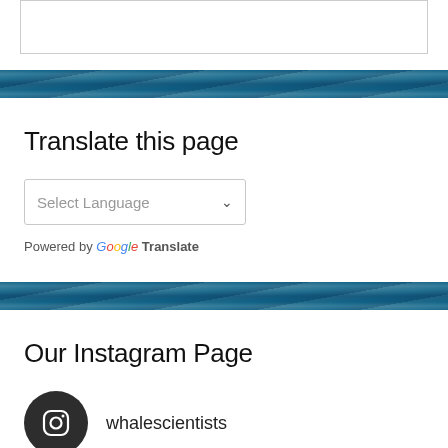[Figure (screenshot): Top white card/panel with border, partially visible, on white background]
[Figure (photo): Ocean water background divider with blue rippling water texture]
Translate this page
[Figure (screenshot): Select Language dropdown widget]
Powered by Google Translate
[Figure (photo): Ocean water background divider with blue rippling water texture]
Our Instagram Page
[Figure (logo): Instagram icon in dark circular button]
whalescientists